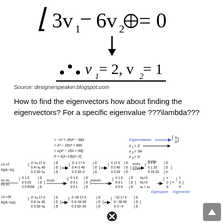[Figure (math-figure): Handwritten math: floor bracket then 3v₁ − 6v₂ ⊗= 0, followed by a downward arrow, then ∴ v₁ = 2, v₂ = 1 underlined]
Source: designerspeaker.blogspot.com
How to find the eigenvectors how about finding the eigenvectors? For a specific eigenvalue ???\lambda???
[Figure (math-figure): Handwritten working showing eigenvalue decomposition: = -λ³ + 26λ² - 68λ, = λ³ - 16λ² + 68λ, = λ(λ² - 16λ + 68), 0 = λ(λ-14)(λ-2); EigenValues λ₁=2, λ₂=34, λ₃=0; bracket [0 0]; N(A-λI) with λ₁=2 showing matrix row reduction steps; row reduction with R2-R1, R3-R1, R1/R2, R3/R3 steps; X₁=0, X₂=0, X₃=x₁ with eigenvector [x 0 0 0] × [1 0 0 0]; Eigenspace and Eigenvector labels; N(A-λ₂I) with λ₂=34 showing matrix steps]